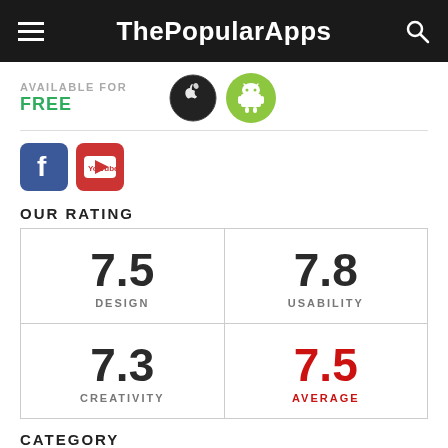ThePopularApps
AVAILABLE FOR FREE
[Figure (logo): Apple iOS and Android platform icons]
[Figure (logo): Facebook and YouTube social media icons]
OUR RATING
| 7.5 DESIGN | 7.8 USABILITY |
| 7.3 CREATIVITY | 7.5 AVERAGE |
CATEGORY